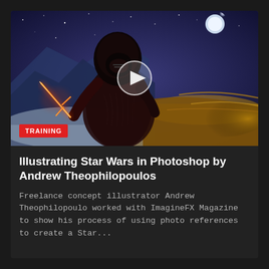[Figure (illustration): Digital painting of a dark-hooded Star Wars character (Kylo Ren) wielding a red crossguard lightsaber against a stormy blue and golden desert background with stars and a moon. A circular play button is overlaid in the center. A red 'TRAINING' badge appears in the bottom-left corner.]
Illustrating Star Wars in Photoshop by Andrew Theophilopoulos
Freelance concept illustrator Andrew Theophilopoulo worked with ImagineFX Magazine to show his process of using photo references to create a Star...